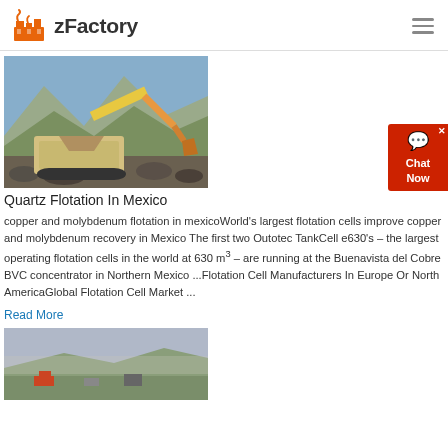zFactory
[Figure (photo): Industrial mining/crushing machine with excavator bucket on rocky terrain, outdoor quarry setting with mountains in background]
Quartz Flotation In Mexico
copper and molybdenum flotation in mexicoWorld's largest flotation cells improve copper and molybdenum recovery in Mexico The first two Outotec TankCell e630's – the largest operating flotation cells in the world at 630 m 3 – are running at the Buenavista del Cobre BVC concentrator in Northern Mexico ...Flotation Cell Manufacturers In Europe Or North AmericaGlobal Flotation Cell Market ...
Read More
[Figure (photo): Aerial or distant view of mining site with earth-moving equipment on barren terrain]